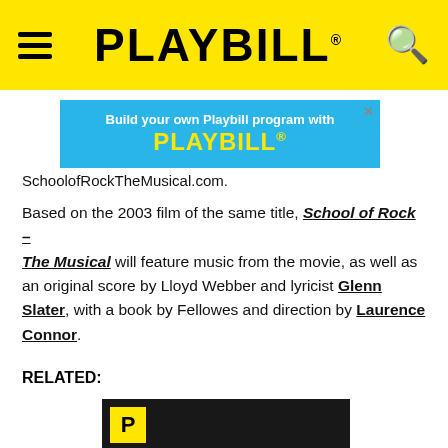PLAYBILL
[Figure (screenshot): Advertisement banner reading 'Build your own Playbill program with PLAYBILL' on a blue background]
SchoolofRockTheMusical.com.
Based on the 2003 film of the same title, School of Rock – The Musical will feature music from the movie, as well as an original score by Lloyd Webber and lyricist Glenn Slater, with a book by Fellowes and direction by Laurence Connor.
RELATED:
[Figure (photo): Dark video thumbnail showing a person on stage with a yellow Playbill 'P' logo in the top left corner and a yellow play button triangle at the bottom center]